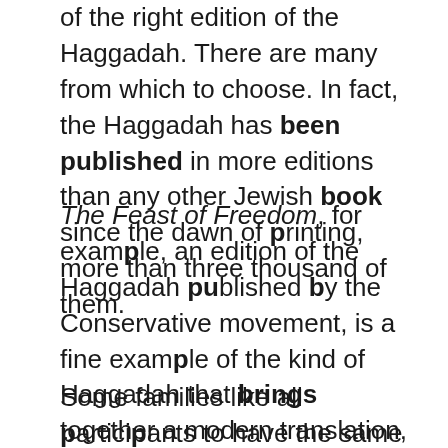of the right edition of the Haggadah. There are many from which to choose. In fact, the Haggadah has been published in more editions than any other Jewish book since the dawn of printing, more than three thousand of them.
The Feast of Freedom, for example, an edition of the Haggadah published by the Conservative movement, is a fine example of the kind of Haggadah that brings together a modern translation, attractive artwork, contemporary additional readings, and many elucidating explanations of how exactly to perform the rituals correctly.
Some families like all participants to have the same edition of the Haggadah in front of them so that everyone can literally be on the same